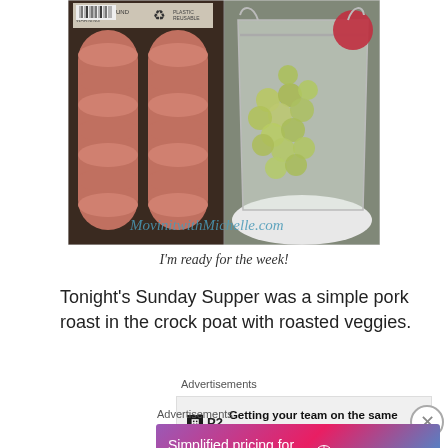[Figure (photo): Two-panel photo: left side shows packaged hot dogs/sausages in clear packaging; right side shows a zip-lock bag with green grapes and other fruit. Watermark reads 'MovinitwithMichelle.com' in blue italic text.]
I'm ready for the week!
Tonight's Sunday Supper was a simple pork roast in the crock poat with roasted veggies.
Advertisements
[Figure (screenshot): Advertisement banner: P2 logo with text 'Getting your team on the same page is easy. And free.']
Advertisements
[Figure (screenshot): WordPress.com advertisement: purple/pink gradient background with text 'Simplified pricing for everything you need.' and WordPress.com logo on right.]